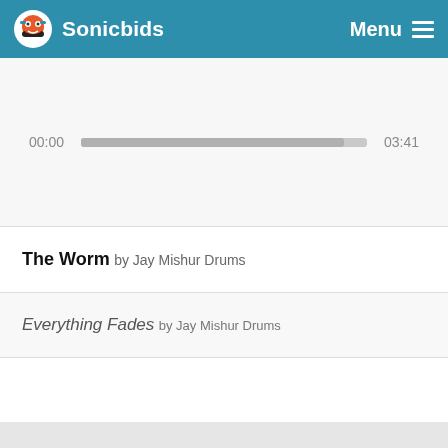Sonicbids  Menu
[Figure (other): Audio player with progress bar showing 00:00 to 03:41]
The Worm by Jay Mishur Drums
Everything Fades by Jay Mishur Drums